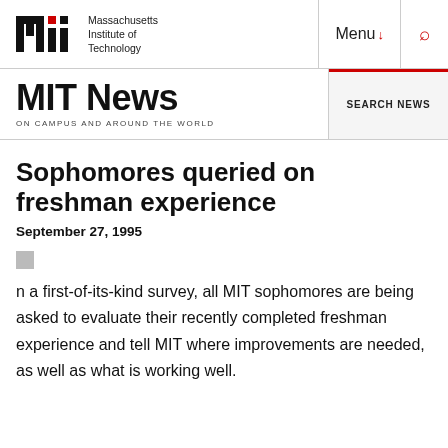[Figure (logo): MIT logo wordmark with text 'Massachusetts Institute of Technology']
Menu ↓  🔍
MIT News ON CAMPUS AND AROUND THE WORLD
SEARCH NEWS
Sophomores queried on freshman experience
September 27, 1995
n a first-of-its-kind survey, all MIT sophomores are being asked to evaluate their recently completed freshman experience and tell MIT where improvements are needed, as well as what is working well.